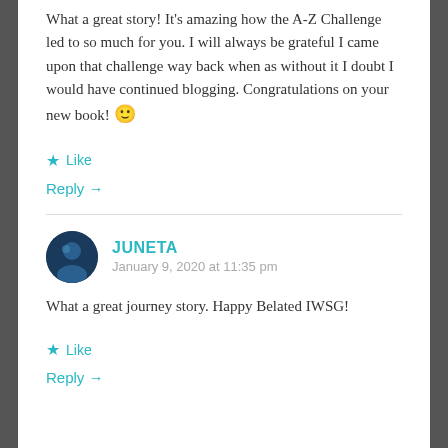What a great story! It's amazing how the A-Z Challenge led to so much for you. I will always be grateful I came upon that challenge way back when as without it I doubt I would have continued blogging. Congratulations on your new book! 🙂
★ Like
Reply →
JUNETA
January 9, 2020 at 11:35 pm
What a great journey story. Happy Belated IWSG!
★ Like
Reply →